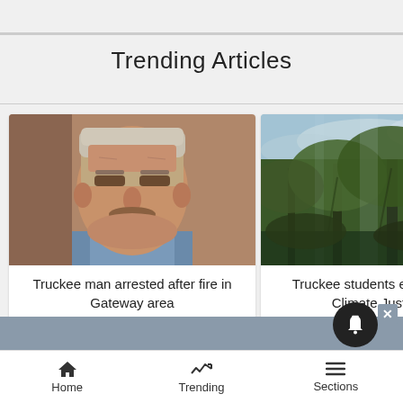Trending Articles
[Figure (photo): Mugshot-style photo of a middle-aged man with short grey/blond hair and a mustache, looking directly at camera]
Truckee man arrested after fire in Gateway area
3 comments
[Figure (photo): Misty forest scene with tall trees and green foliage in foggy conditions]
Truckee students earn spots in Climate Justice C
1 comment
Home   Trending   Sections